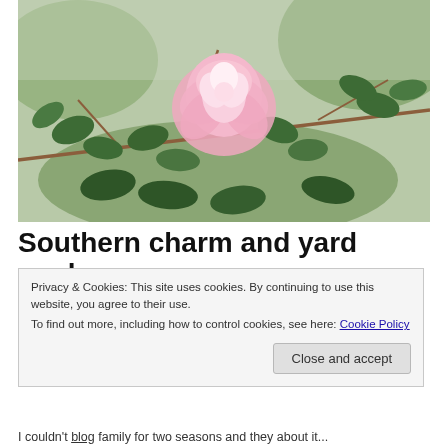[Figure (photo): Close-up photo of a large pink rose bloom on a branch with green leaves against a blurred outdoor background]
Southern charm and yard work
Privacy & Cookies: This site uses cookies. By continuing to use this website, you agree to their use.
To find out more, including how to control cookies, see here: Cookie Policy
Close and accept
I couldn't believe family for two seasons and they about it...